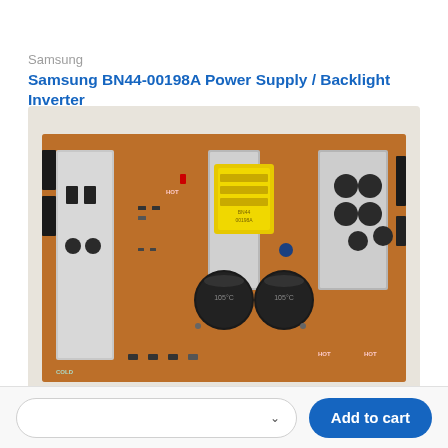Samsung
Samsung BN44-00198A Power Supply / Backlight Inverter
[Figure (photo): Photo of Samsung BN44-00198A power supply / backlight inverter circuit board showing capacitors, transformer, heat sinks, and various electronic components on a brown PCB]
Add to cart